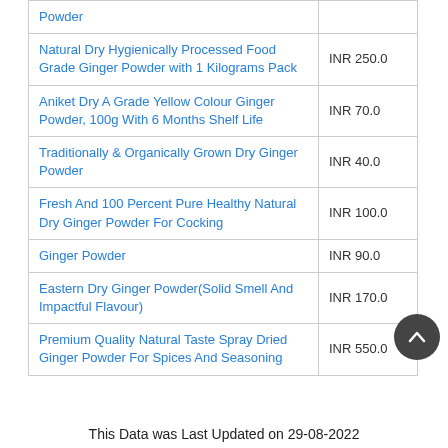| Product | Price |
| --- | --- |
| Powder |  |
| Natural Dry Hygienically Processed Food Grade Ginger Powder with 1 Kilograms Pack | INR 250.0 |
| Aniket Dry A Grade Yellow Colour Ginger Powder, 100g With 6 Months Shelf Life | INR 70.0 |
| Traditionally & Organically Grown Dry Ginger Powder | INR 40.0 |
| Fresh And 100 Percent Pure Healthy Natural Dry Ginger Powder For Cocking | INR 100.0 |
| Ginger Powder | INR 90.0 |
| Eastern Dry Ginger Powder(Solid Smell And Impactful Flavour) | INR 170.0 |
| Premium Quality Natural Taste Spray Dried Ginger Powder For Spices And Seasoning | INR 550.0 |
This Data was Last Updated on 29-08-2022